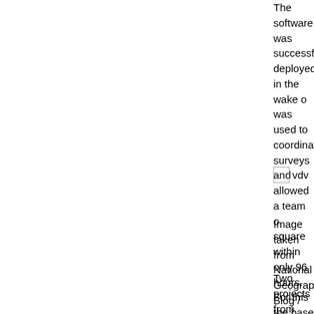The software was successfully deployed in the wake of [cont.] was used to coordinate surveys and allowed a team of [cont.] square within only 96 hours. For this the base data from [cont.] documented especially the port au prince area just fou[cont.] about 25cm square.
[Figure (other): Small image placeholder with label 'vdv']
Image taken from National Geographic Blog / Screen [cont.]
Two projects from UCLA, presented and co developed [cont.] crowd sourced botanical data collections. The 'What's [cont.] platform application to map and monitor the distribution [cont.] United States. The idea is to let volunteers submit loca[cont.] they happen to find. To do so the software would offer [cont.] reported. With one click the information is submitted to [cont.] Android app can be downloaded HERE. The second project called 'Project BudBurst' is focusin[cont.] plant state information. With this application, also Andr[cont.] different plant species make over the course of the yea[cont.] central server. The idea is to get people to observe howler example th[cont.] daily commute and that these observations can be sim[cont.] contribution to a nation wide project. The projects have to show some very promising initial [cont.] and accurate as comparison studies show. Furthermo[cont.]